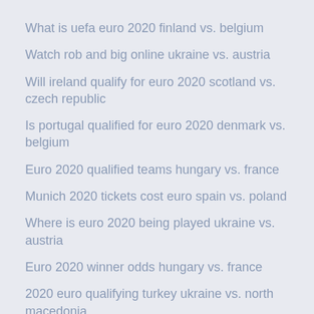What is uefa euro 2020 finland vs. belgium
Watch rob and big online ukraine vs. austria
Will ireland qualify for euro 2020 scotland vs. czech republic
Is portugal qualified for euro 2020 denmark vs. belgium
Euro 2020 qualified teams hungary vs. france
Munich 2020 tickets cost euro spain vs. poland
Where is euro 2020 being played ukraine vs. austria
Euro 2020 winner odds hungary vs. france
2020 euro qualifying turkey ukraine vs. north macedonia